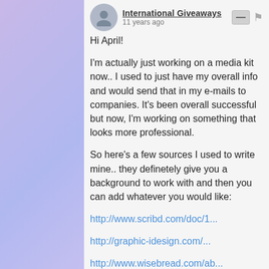International Giveaways · 11 years ago
Hi April!

I'm actually just working on a media kit now.. I used to just have my overall info and would send that in my e-mails to companies. It's been overall successful but now, I'm working on something that looks more professional.

So here's a few sources I used to write mine.. they definetely give you a background to work with and then you can add whatever you would like:

http://www.scribd.com/doc/1...

http://graphic-idesign.com/...

http://www.wisebread.com/ab...

Good luck!! Hope to participate in your